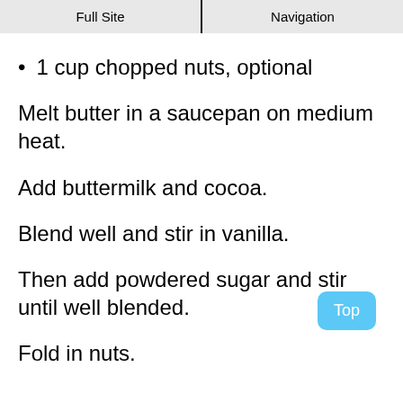Full Site | Navigation
1 cup chopped nuts, optional
Melt butter in a saucepan on medium heat.
Add buttermilk and cocoa.
Blend well and stir in vanilla.
Then add powdered sugar and stir until well blended.
Fold in nuts.